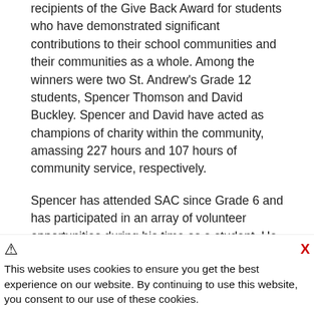recipients of the Give Back Award for students who have demonstrated significant contributions to their school communities and their communities as a whole. Among the winners were two St. Andrew's Grade 12 students, Spencer Thomson and David Buckley. Spencer and David have acted as champions of charity within the community, amassing 227 hours and 107 hours of community service, respectively.
Spencer has attended SAC since Grade 6 and has participated in an array of volunteer opportunities during his time as a student. He is a current member of the Community Service Council and has demonstrated a tremendous passion for supporting the local community. His favourite volunteer event is the annual Terry Fox Run because it allows him and his friends to aid in a meaningful way for an important cause.
David has been an inspired volunteer since the age of 10. He attributes his motivation for volunteering to the values his mom instilled him in at a young age. At SAC, he has represented the...
This website uses cookies to ensure you get the best experience on our website. By continuing to use this website, you consent to our use of these cookies.